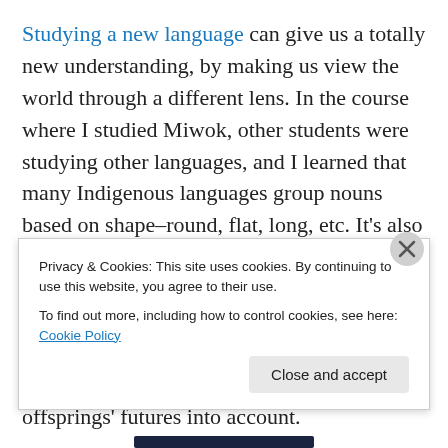Studying a new language can give us a totally new understanding, by making us view the world through a different lens. In the course where I studied Miwok, other students were studying other languages, and I learned that many Indigenous languages group nouns based on shape–round, flat, long, etc. It's also important to consider that many Native cultures understand their actions as affecting Seven Generations, and thus feel personally and politically obligated to take both their ancestors' accomplishments and their offsprings' futures into account.
One way to ensure that Native Americans in our
Privacy & Cookies: This site uses cookies. By continuing to use this website, you agree to their use.
To find out more, including how to control cookies, see here: Cookie Policy